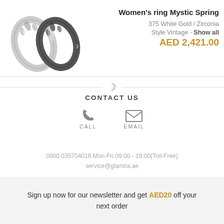[Figure (photo): Two women's rings with vintage leaf/floral pattern in white gold, shown side by side with a right arrow navigation indicator]
Women's ring Mystic Spring
375 White Gold / Zirconia
Style Vintage - Show all
AED 2,421.00
[Figure (infographic): Contact Us section with phone and email icons labeled CALL and EMAIL]
CONTACT US
0800 035704016 Mon-Fri 09:00 - 19:00(Toll-Free)
service@glamira.ae
Sign up now for our newsletter and get AED20 off your next order